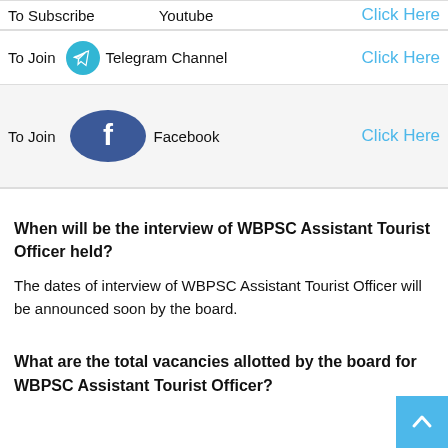| To Subscribe | Youtube | Click Here |
| To Join [Telegram icon] Telegram Channel | Click Here |
| To Join [Facebook icon] Facebook | Click Here |
When will be the interview of WBPSC Assistant Tourist Officer held?
The dates of interview of WBPSC Assistant Tourist Officer will be announced soon by the board.
What are the total vacancies allotted by the board for WBPSC Assistant Tourist Officer?